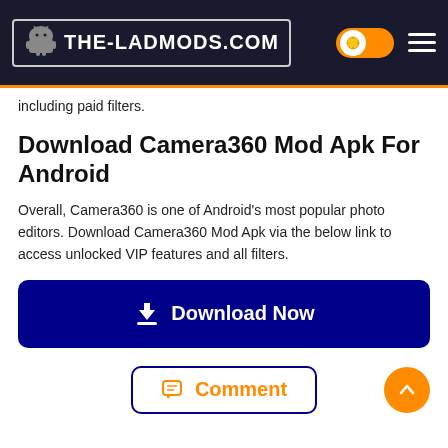[Figure (logo): THE-LADMODS.COM website logo with Android robot icon on dark navy background with orange bottom border]
including paid filters.
Download Camera360 Mod Apk For Android
Overall, Camera360 is one of Android's most popular photo editors. Download Camera360 Mod Apk via the below link to access unlocked VIP features and all filters.
[Figure (other): Download Now button — dark blue rounded rectangle with download icon and white text]
[Figure (other): Comment button with orange chat icon and text, and orange scroll-to-top circle button]